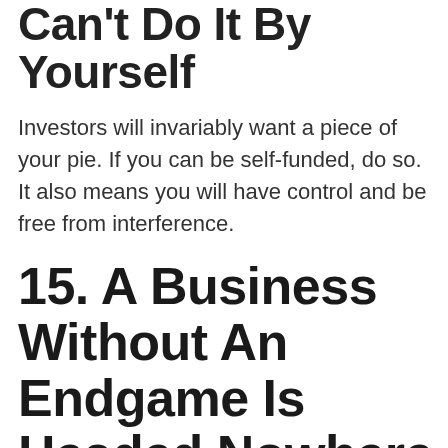Can't Do It By Yourself
Investors will invariably want a piece of your pie. If you can be self-funded, do so. It also means you will have control and be free from interference.
15. A Business Without An Endgame Is Headed Nowhere